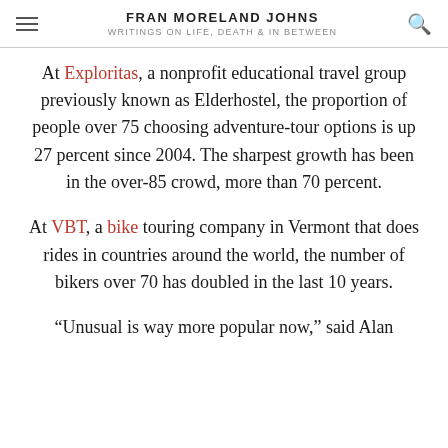FRAN MORELAND JOHNS
WRITINGS ON LIFE, DEATH & IN BETWEEN
At Exploritas, a nonprofit educational travel group previously known as Elderhostel, the proportion of people over 75 choosing adventure-tour options is up 27 percent since 2004. The sharpest growth has been in the over-85 crowd, more than 70 percent.
At VBT, a bike touring company in Vermont that does rides in countries around the world, the number of bikers over 70 has doubled in the last 10 years.
“Unusual is way more popular now,” said Alan